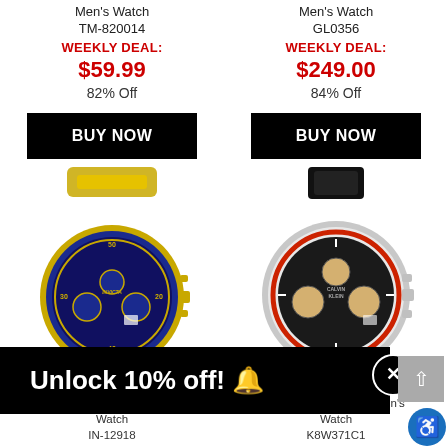Men's Watch
TM-820014
WEEKLY DEAL:
$59.99
82% Off
BUY NOW
[Figure (photo): Invicta Pro Diver Men's Watch with gold bracelet and blue dial, model IN-12918]
Invicta Pro Diver Men's Watch
IN-12918
Men's Watch
GL0356
WEEKLY DEAL:
$249.00
84% Off
BUY NOW
[Figure (photo): Calvin Klein Achieve Men's Watch with black leather strap and chronograph dial, model K8W371C1]
Calvin Klein Achieve Men's Watch
K8W371C1
Unlock 10% off! 🔔
✕